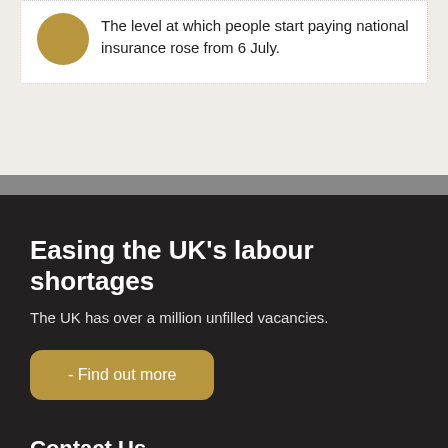The level at which people start paying national insurance rose from 6 July.
Easing the UK's labour shortages
The UK has over a million unfilled vacancies.
- Find out more
Contact Us